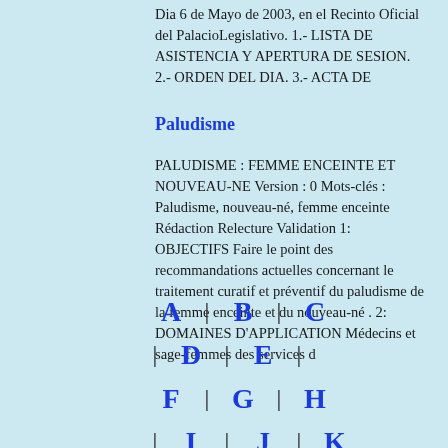Dia 6 de Mayo de 2003, en el Recinto Oficial del PalacioLegislativo. 1.- LISTA DE ASISTENCIA Y APERTURA DE SESION. 2.- ORDEN DEL DIA. 3.- ACTA DE
Paludisme
PALUDISME : FEMME ENCEINTE ET NOUVEAU-NE Version : 0 Mots-clés : Paludisme, nouveau-né, femme enceinte Rédaction Relecture Validation 1: OBJECTIFS Faire le point des recommandations actuelles concernant le traitement curatif et préventif du paludisme de la femme enceinte et du nouveau-né . 2: DOMAINES D'APPLICATION Médecins et sage-femmes des services d
A | B | C | D | E | F | G | H | I | J | K | L | M |